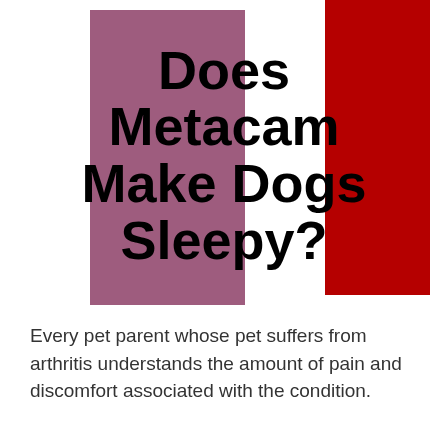[Figure (illustration): Three vertical color bars: left bar is mauve/purple, center bar is white, right bar is dark red/crimson. The bars span from near the top to about two-thirds down the page. Bold black title text overlays the bars.]
Does Metacam Make Dogs Sleepy?
Every pet parent whose pet suffers from arthritis understands the amount of pain and discomfort associated with the condition.